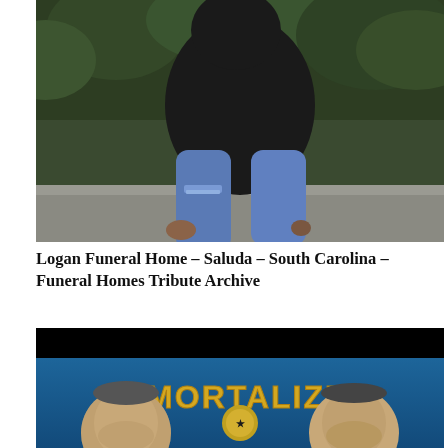[Figure (photo): Person sitting on stone steps wearing black top and ripped blue jeans, outdoors with green foliage in background]
Logan Funeral Home – Saluda – South Carolina – Funeral Homes Tribute Archive
[Figure (photo): Promotional image with text 'IMMORTALIZED' and two people's faces on a blue background with a black bar at top]